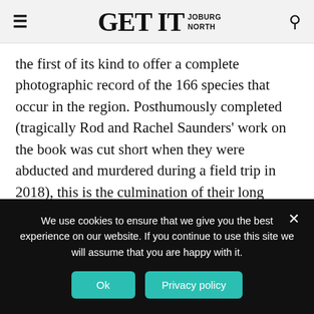GET IT JOBURG NORTH
the first of its kind to offer a complete photographic record of the 166 species that occur in the region. Posthumously completed (tragically Rod and Rachel Saunders' work on the book was cut short when they were abducted and murdered during a field trip in 2018), this is the culmination of their long search to find and photograph every known species of Gladiolus in South Africa. It includes detailed descriptions of each species, along with info about ecology, pollinators, similar species and conservation
We use cookies to ensure that we give you the best experience on our website. If you continue to use this site we will assume that you are happy with it.